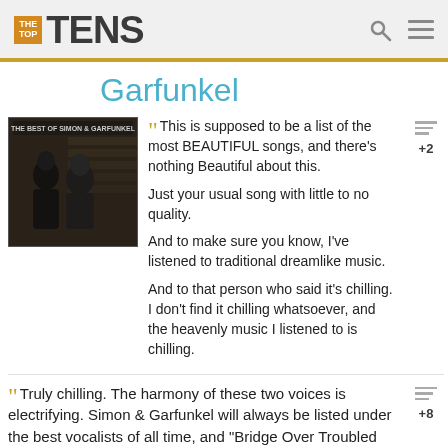THE TOP TENS
Garfunkel
[Figure (photo): Album cover for 'The Best of Simon & Garfunkel' showing two men in black and white photo]
This is supposed to be a list of the most BEAUTIFUL songs, and there's nothing Beautiful about this. Just your usual song with little to no quality. And to make sure you know, I've listened to traditional dreamlike music. And to that person who said it's chilling. I don't find it chilling whatsoever, and the heavenly music I listened to is chilling.
Truly chilling. The harmony of these two voices is electrifying. Simon & Garfunkel will always be listed under the best vocalists of all time, and "Bridge Over Troubled Water" as well as "The Sound of Silence" are